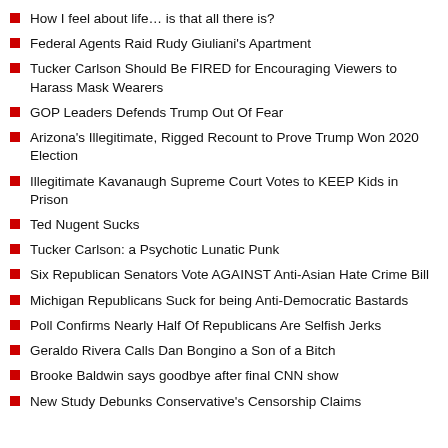How I feel about life… is that all there is?
Federal Agents Raid Rudy Giuliani's Apartment
Tucker Carlson Should Be FIRED for Encouraging Viewers to Harass Mask Wearers
GOP Leaders Defends Trump Out Of Fear
Arizona's Illegitimate, Rigged Recount to Prove Trump Won 2020 Election
Illegitimate Kavanaugh Supreme Court Votes to KEEP Kids in Prison
Ted Nugent Sucks
Tucker Carlson: a Psychotic Lunatic Punk
Six Republican Senators Vote AGAINST Anti-Asian Hate Crime Bill
Michigan Republicans Suck for being Anti-Democratic Bastards
Poll Confirms Nearly Half Of Republicans Are Selfish Jerks
Geraldo Rivera Calls Dan Bongino a Son of a Bitch
Brooke Baldwin says goodbye after final CNN show
New Study Debunks Conservative's Censorship Claims